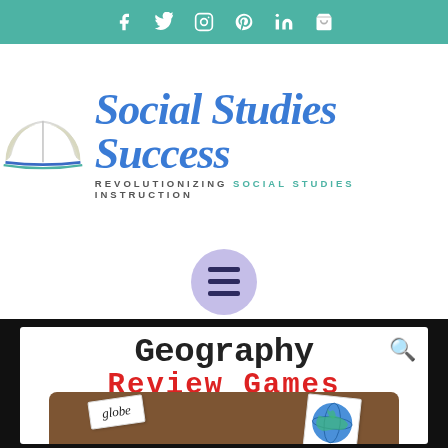Social Studies Success website header with social media icons: Facebook, Twitter, Instagram, Pinterest, LinkedIn, Cart
[Figure (logo): Social Studies Success logo with open book illustration and script text. Tagline: REVOLUTIONIZING SOCIAL STUDIES INSTRUCTION]
[Figure (other): Hamburger menu button in lavender circle]
[Figure (other): Geography Review Games product card showing flashcards with 'globe' word card and globe illustration on brown background with search icon]